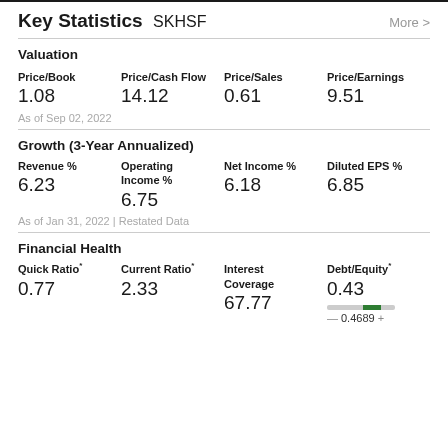Key Statistics SKHSF
Valuation
| Price/Book | Price/Cash Flow | Price/Sales | Price/Earnings |
| --- | --- | --- | --- |
| 1.08 | 14.12 | 0.61 | 9.51 |
As of Sep 02, 2022
Growth (3-Year Annualized)
| Revenue % | Operating Income % | Net Income % | Diluted EPS % |
| --- | --- | --- | --- |
| 6.23 | 6.75 | 6.18 | 6.85 |
As of Jan 31, 2022 | Restated Data
Financial Health
| Quick Ratio* | Current Ratio* | Interest Coverage | Debt/Equity* |
| --- | --- | --- | --- |
| 0.77 | 2.33 | 67.77 | 0.43 |
— 0.4689 +